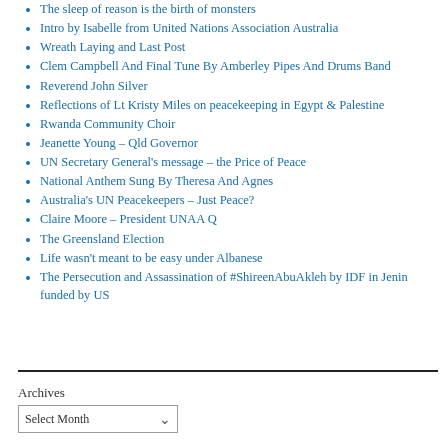The sleep of reason is the birth of monsters
Intro by Isabelle from United Nations Association Australia
Wreath Laying and Last Post
Clem Campbell And Final Tune By Amberley Pipes And Drums Band
Reverend John Silver
Reflections of Lt Kristy Miles on peacekeeping in Egypt & Palestine
Rwanda Community Choir
Jeanette Young – Qld Governor
UN Secretary General's message – the Price of Peace
National Anthem Sung By Theresa And Agnes
Australia's UN Peacekeepers – Just Peace?
Claire Moore – President UNAA Q
The Greensland Election
Life wasn't meant to be easy under Albanese
The Persecution and Assassination of #ShireenAbuAkleh by IDF in Jenin funded by US
Archives
Select Month